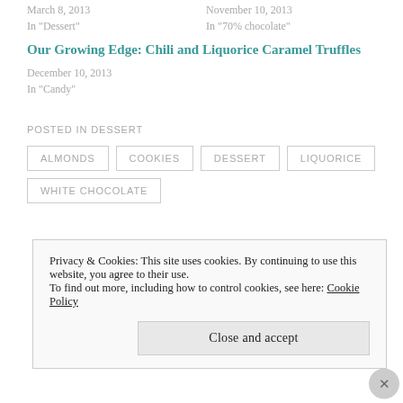March 8, 2013
In "Dessert"
November 10, 2013
In "70% chocolate"
Our Growing Edge: Chili and Liquorice Caramel Truffles
December 10, 2013
In "Candy"
POSTED IN DESSERT
ALMONDS
COOKIES
DESSERT
LIQUORICE
WHITE CHOCOLATE
Privacy & Cookies: This site uses cookies. By continuing to use this website, you agree to their use.
To find out more, including how to control cookies, see here: Cookie Policy
Close and accept